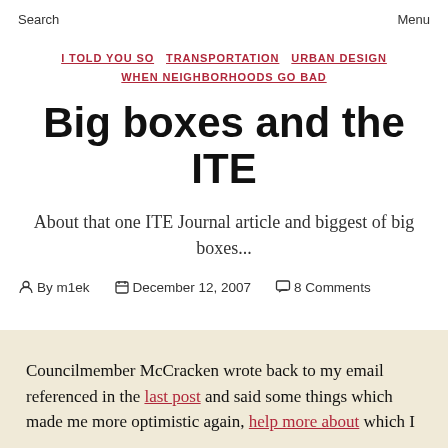Search   Menu
I TOLD YOU SO   TRANSPORTATION   URBAN DESIGN   WHEN NEIGHBORHOODS GO BAD
Big boxes and the ITE
About that one ITE Journal article and biggest of big boxes...
By m1ek   December 12, 2007   8 Comments
Councilmember McCracken wrote back to my email referenced in the last post and said some things which made me more optimistic again, help more about which I